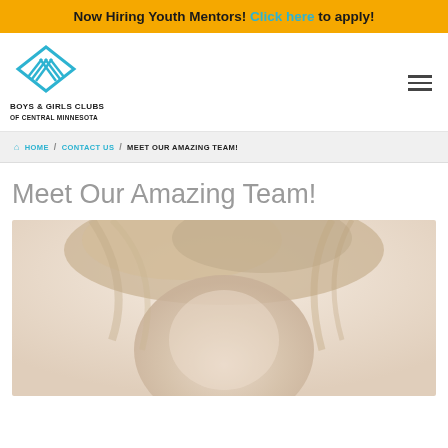Now Hiring Youth Mentors! Click here to apply!
[Figure (logo): Boys & Girls Clubs of Central Minnesota logo — blue diamond/hands icon with organization name below]
Navigation menu (hamburger icon)
HOME / CONTACT US / MEET OUR AMAZING TEAM!
Meet Our Amazing Team!
[Figure (photo): Close-up photo of a person with light/blonde hair, appearing faded/light toned]